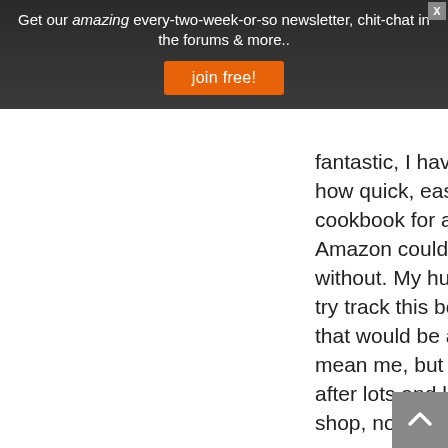Get our amazing every-two-week-or-so newsletter, chit-chat in the forums & more..
join free!
fantastic, I have the stove top Sitit pressure cookers and just love how quick, easy and healthy our meals are. I had wanted your cookbook for a very long time but was unable to buy it in Australia, Amazon could have posted it but the cost was huge so I went without. My husband and I visited Canada last year so I decide to try track this book down, if it was my only souviner from Canada that would be awesome, While on Vancouver island, Victoria we ( I mean me, but he had to come too) decided to go find a book shop, after lots and lots of walking we managed to come across a book shop, no joy, more searching we found another, no joy, the